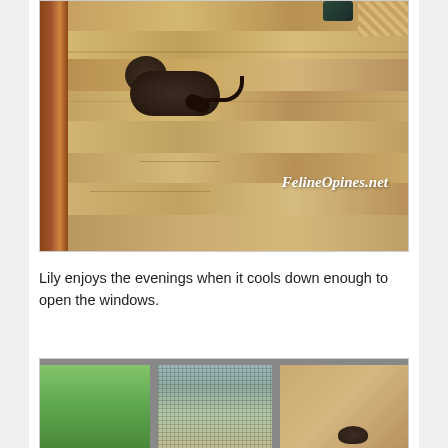[Figure (photo): A dark-colored cat lying stretched out on a warm-toned hardwood floor. A wooden post/railing is visible on the left, a bag and rug corner at the top right. The watermark 'FelineOpines.net' appears in white italic text on the photo.]
Lily enjoys the evenings when it cools down enough to open the windows.
[Figure (photo): A cat (partially visible, showing a paw) looking out through an open window with a screen. Green trees visible outside. The window frame and a warm-toned wall/curtain visible on the right.]